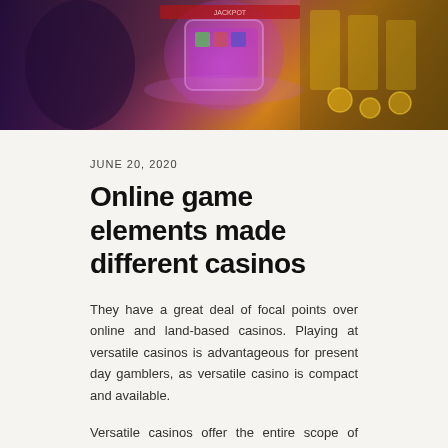[Figure (photo): Casino-themed hero image showing a woman holding a glowing mobile device with slot machine graphics, gold coins and casino elements in the background]
JUNE 20, 2020
Online game elements made different casinos
They have a great deal of focal points over online and land-based casinos. Playing at versatile casinos is advantageous for present day gamblers, as versatile casino is compact and available.
Versatile casinos offer the entire scope of casino games: portable slots, versatile sa game vip, different portable casino table games (versatile roulette, portable blackjack, versatile poker, and so on.), versatile Keno, portable dice and other casino games. You ought to recollect that practically all versatile casinos offer downloadable casino